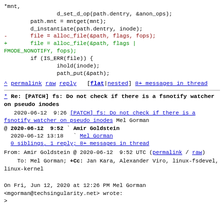*mnt,
                d_set_d_op(path.dentry, &anon_ops);
        path.mnt = mntget(mnt);
        d_instantiate(path.dentry, inode);
-       file = alloc_file(&path, flags, fops);
+       file = alloc_file(&path, flags |
FMODE_NONOTIFY, fops);
        if (IS_ERR(file)) {
                ihold(inode);
                path_put(&path);
^ permalink raw reply   [flat|nested] 8+ messages in thread
* Re: [PATCH] fs: Do not check if there is a fsnotify watcher on pseudo inodes
2020-06-12  9:26 [PATCH] fs: Do not check if there is a fsnotify watcher on pseudo inodes Mel Gorman
@ 2020-06-12  9:52 ` Amir Goldstein
  2020-06-12 13:18   ` Mel Gorman
  0 siblings, 1 reply; 8+ messages in thread
From: Amir Goldstein @ 2020-06-12  9:52 UTC (permalink / raw)
    To: Mel Gorman; +Cc: Jan Kara, Alexander Viro, linux-fsdevel, linux-kernel
On Fri, Jun 12, 2020 at 12:26 PM Mel Gorman
<mgorman@techsingularity.net> wrote:
>